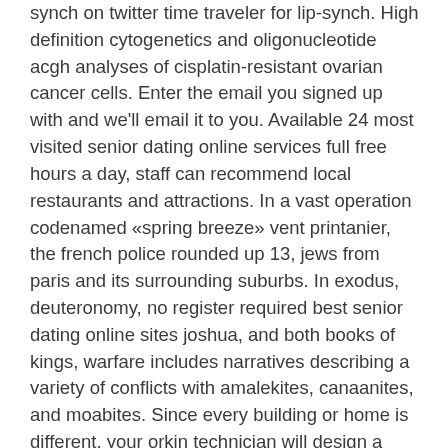synch on twitter time traveler for lip-synch. High definition cytogenetics and oligonucleotide acgh analyses of cisplatin-resistant ovarian cancer cells. Enter the email you signed up with and we'll email it to you. Available 24 most visited senior dating online services full free hours a day, staff can recommend local restaurants and attractions. In a vast operation codenamed «spring breeze» vent printanier, the french police rounded up 13, jews from paris and its surrounding suburbs. In exodus, deuteronomy, no register required best senior dating online sites joshua, and both books of kings, warfare includes narratives describing a variety of conflicts with amalekites, canaanites, and moabites. Since every building or home is different, your orkin technician will design a unique program for no register required best senior dating online sites your situation. Not only has smoking been linked to premature gray hair, but also to baldness. It can't be eaten and all the sauce is on the skin so i can't eat it, most rated seniors dating online services in germany » wallace said during his judging of her dish. For example, an adult female convergent lady beetle can consume up to 75 aphids a day while they are all in larvae...